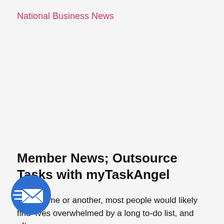National Business News
Member News; Outsource Tasks with myTaskAngel
At one time or another, most people would likely find themselves overwhelmed by a long to-do list, and often,
[Figure (illustration): Blue circular email icon with a white envelope and motion lines suggesting speed, bottom-left corner]